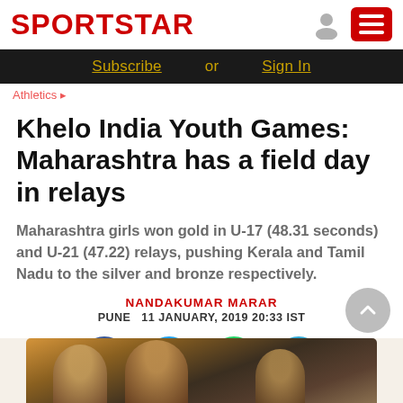SPORTSTAR
Subscribe or Sign In
Khelo India Youth Games: Maharashtra has a field day in relays
Maharashtra girls won gold in U-17 (48.31 seconds) and U-21 (47.22) relays, pushing Kerala and Tamil Nadu to the silver and bronze respectively.
NANDAKUMAR MARAR
PUNE  11 JANUARY, 2019 20:33 IST
[Figure (photo): Partial photo of athletes at the Khelo India Youth Games relay event]